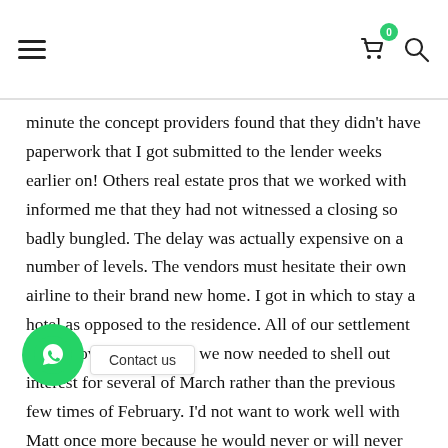Navigation header with hamburger menu, cart icon with badge (0), and search icon
minute the concept providers found that they didn't have paperwork that I got submitted to the lender weeks earlier on! Others real estate pros that we worked with informed me that they had not witnessed a closing so badly bungled. The delay was actually expensive on a number of levels. The vendors must hesitate their own airline to their brand new home. I got in which to stay a hotel as opposed to the residence. All of our settlement costs moved up because we now needed to shell out interest for several of March rather than the previous few times of February. I'd not want to work well with Matt once more because he would never or will never give me personally a straight answer. He danced ar[...] very [...] ding what got demanded when the clo[...] an h[...] ould not wish utilize Great Western again as it does not seem that her sales representatives understand